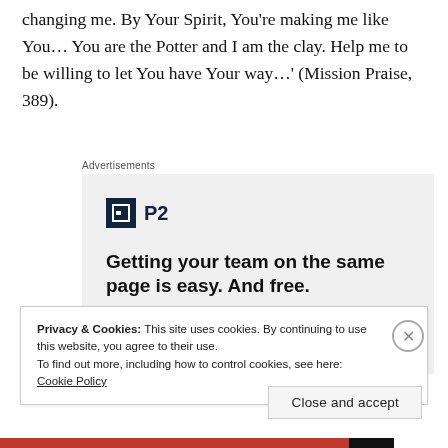changing me. By Your Spirit, You're making me like You… You are the Potter and I am the clay. Help me to be willing to let You have Your way…' (Mission Praise, 389).
Advertisements
[Figure (other): Advertisement for P2 software with logo and tagline: Getting your team on the same page is easy. And free.]
Privacy & Cookies: This site uses cookies. By continuing to use this website, you agree to their use.
To find out more, including how to control cookies, see here: Cookie Policy
Close and accept